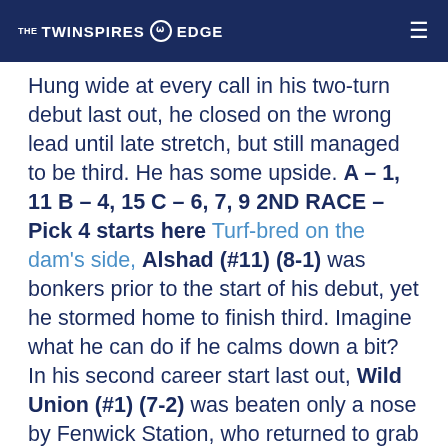THE TWINSPIRES EDGE
Hung wide at every call in his two-turn debut last out, he closed on the wrong lead until late stretch, but still managed to be third. He has some upside. A – 1, 11 B – 4, 15 C – 6, 7, 9 2ND RACE – Pick 4 starts here Turf-bred on the dam's side, Alshad (#11) (8-1) was bonkers prior to the start of his debut, yet he stormed home to finish third. Imagine what he can do if he calms down a bit? In his second career start last out, Wild Union (#1) (7-2) was beaten only a nose by Fenwick Station, who returned to grab the place